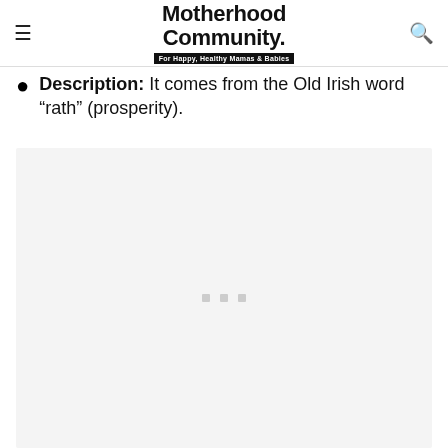Motherhood Community. For Happy, Healthy Mamas & Babies
Description: It comes from the Old Irish word “rath” (prosperity).
[Figure (other): Advertisement placeholder area with three small grey squares centered, light grey background]